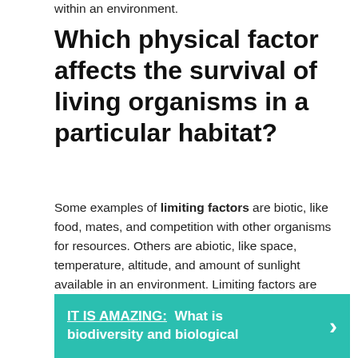within an environment.
Which physical factor affects the survival of living organisms in a particular habitat?
Some examples of limiting factors are biotic, like food, mates, and competition with other organisms for resources. Others are abiotic, like space, temperature, altitude, and amount of sunlight available in an environment. Limiting factors are usually expressed as a lack of a particular resource.
IT IS AMAZING:  What is biodiversity and biological